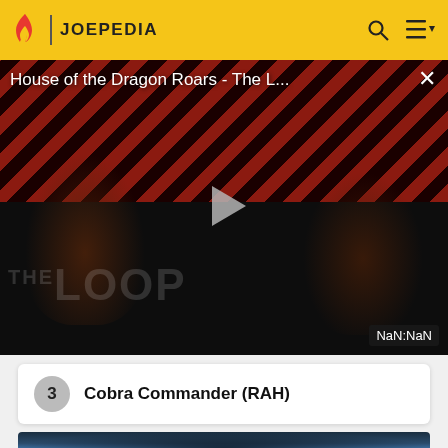JOEPEDIA
[Figure (screenshot): Video player showing 'House of the Dragon Roars - The L...' with a play button in the center, diagonal red and dark stripe pattern background, dark figures, THE LOOP watermark, and NaN:NaN duration badge]
3  Cobra Commander (RAH)
[Figure (photo): Dark blue-toned image of a helmeted figure (Cobra Commander) partially visible at bottom of page]